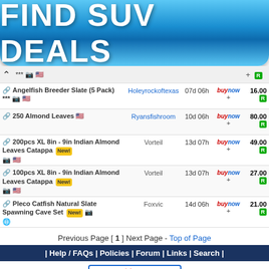[Figure (illustration): Blue gradient banner button with white bold text: FIND SUV DEALS]
Angelfish Breeder Slate (5 Pack) *** | Holeyrockoftexas | 07d 06h | buynow | 16.00
250 Almond Leaves | Ryansfishroom | 10d 06h | buynow | 80.00
200pcs XL 8in - 9in Indian Almond Leaves Catappa New! | Vorteil | 13d 07h | buynow | 49.00
100pcs XL 8in - 9in Indian Almond Leaves Catappa New! | Vorteil | 13d 07h | buynow | 27.00
Pleco Catfish Natural Slate Spawning Cave Set New! | Foxvic | 14d 06h | buynow | 21.00
Previous Page [ 1 ] Next Page - Top of Page
| Help / FAQs | Policies | Forum | Links | Search |
[Figure (logo): AquaRank.com Rank #1 logo]